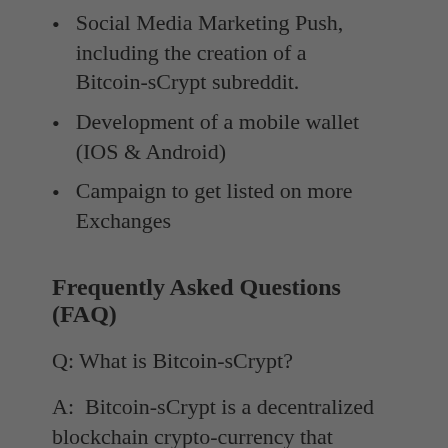Social Media Marketing Push, including the creation of a Bitcoin-sCrypt subreddit.
Development of a mobile wallet (IOS & Android)
Campaign to get listed on more Exchanges
Frequently Asked Questions (FAQ)
Q: What is Bitcoin-sCrypt?
A:  Bitcoin-sCrypt is a decentralized blockchain crypto-currency that utilizes the scrypt proof-of-work algorithm.  Bitcoin-sCrypt was originally developed as a more decentralized alternative to Bitcoin-core.